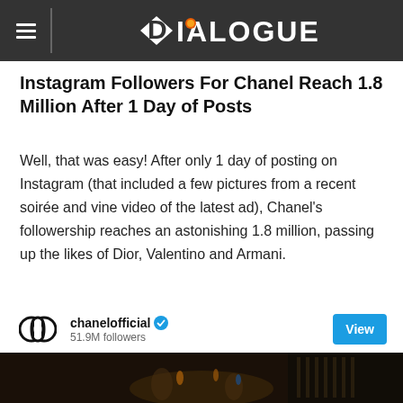DIALOGUE
Instagram Followers For Chanel Reach 1.8 Million After 1 Day of Posts
Well, that was easy! After only 1 day of posting on Instagram (that included a few pictures from a recent soirée and vine video of the latest ad), Chanel's followership reaches an astonishing 1.8 million, passing up the likes of Dior, Valentino and Armani.
[Figure (screenshot): Instagram widget showing chanelofficial profile with 51.9M followers and a View button]
[Figure (photo): Dark atmospheric photo strip showing candles and interior scene]